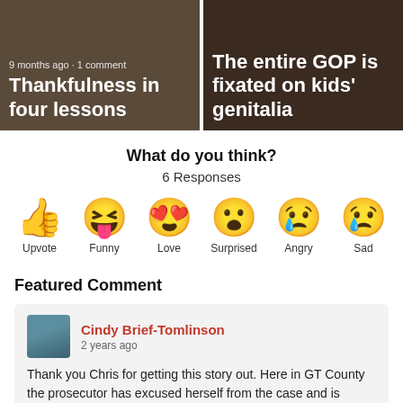[Figure (screenshot): Two article thumbnail cards side by side. Left: '9 months ago · 1 comment' meta, title 'Thankfulness in four lessons'. Right: title 'The entire GOP is fixated on kids' genitalia'.]
What do you think?
6 Responses
[Figure (infographic): Six emoji reaction buttons: Upvote (thumbs up), Funny (laughing face with tongue), Love (heart eyes), Surprised (surprised face), Angry (crying/angry face), Sad (sad face with tear)]
Featured Comment
Cindy Brief-Tomlinson
2 years ago
Thank you Chris for getting this story out. Here in GT County the prosecutor has excused herself from the case and is turning it over to the AG. A letter from